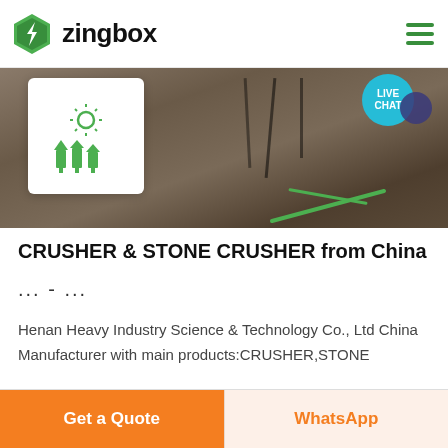zingbox
[Figure (screenshot): Construction/mining site photo showing equipment and ground with green cables, with an icon card overlay showing a green sun and machinery icons, and a live chat bubble in the top right]
CRUSHER & STONE CRUSHER from China
... - ...
Henan Heavy Industry Science & Technology Co., Ltd China Manufacturer with main products:CRUSHER,STONE
Get a Quote
WhatsApp